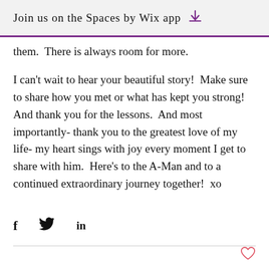Join us on the Spaces by Wix app
them.  There is always room for more.
I can't wait to hear your beautiful story!  Make sure to share how you met or what has kept you strong!  And thank you for the lessons.  And most importantly- thank you to the greatest love of my life- my heart sings with joy every moment I get to share with him.  Here's to the A-Man and to a continued extraordinary journey together!  xo
[Figure (infographic): Social sharing icons: Facebook (f), Twitter (bird), LinkedIn (in)]